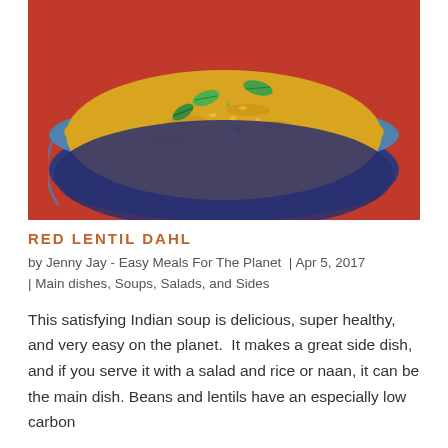[Figure (photo): A blue ceramic bowl filled with yellow-orange red lentil dahl soup, garnished with fresh green mint leaves, sitting on a red surface.]
RED LENTIL DAHL
by Jenny Jay - Easy Meals For The Planet | Apr 5, 2017 | Main dishes, Soups, Salads, and Sides
This satisfying Indian soup is delicious, super healthy, and very easy on the planet.  It makes a great side dish, and if you serve it with a salad and rice or naan, it can be the main dish. Beans and lentils have an especially low carbon